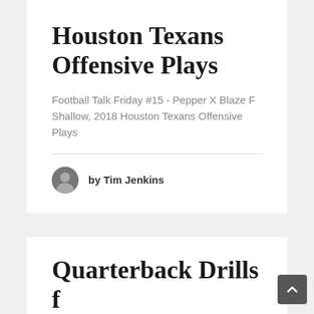Houston Texans Offensive Plays
Football Talk Friday #15 - Pepper X Blaze F Shallow, 2018 Houston Texans Offensive Plays
by Tim Jenkins
Quarterback Drills